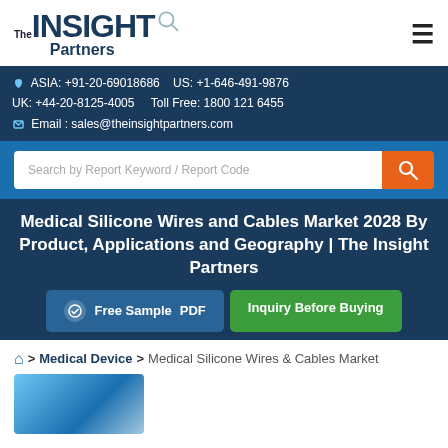[Figure (logo): The Insight Partners logo with magnifying glass icon]
ASIA: +91-20-69018686   US: +1-646-491-9876
UK: +44-20-8125-4005   Toll Free: 1800 121 6455
Email: sales@theinsightpartners.com
[Figure (screenshot): Search bar with placeholder 'Search by Report Keyword / Report Code' and orange search button]
Medical Silicone Wires and Cables Market 2028 By Product, Applications and Geography | The Insight Partners
Free Sample PDF   Inquiry Before Buying
Home > Medical Device > Medical Silicone Wires & Cables Market